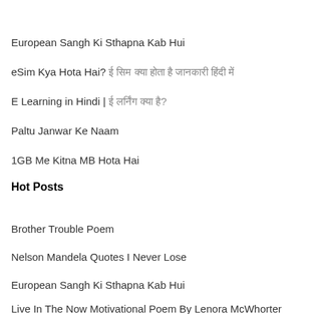European Sangh Ki Sthapna Kab Hui
eSim Kya Hota Hai? ई सिम क्या होता है जानकारी हिंदी में
E Learning in Hindi | ई लर्निंग क्या है?
Paltu Janwar Ke Naam
1GB Me Kitna MB Hota Hai
Hot Posts
Brother Trouble Poem
Nelson Mandela Quotes I Never Lose
European Sangh Ki Sthapna Kab Hui
Live In The Now Motivational Poem By Lenora McWhorter